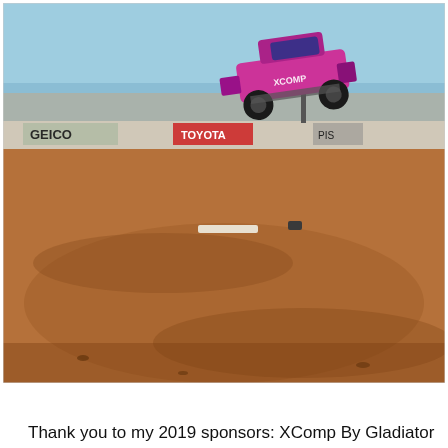[Figure (photo): An off-road race truck painted pink, black and purple with XComp branding is caught mid-air during a jump on a dirt track. Sponsor banners for GEICO and Toyota are visible on barriers in the background. The ground is red-brown dirt. The sky is clear blue.]
Thank you to my 2019 sponsors: XComp By Gladiator